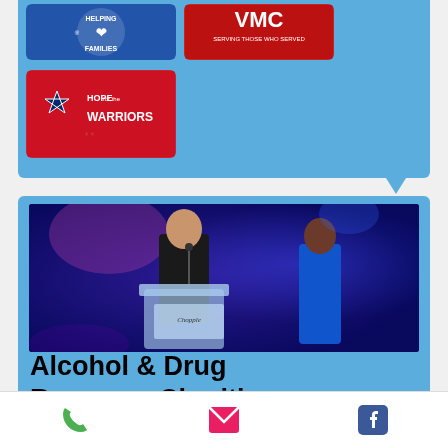[Figure (logo): Military/family organization logo with blue background]
[Figure (logo): VMC logo - serving those who served, red background]
[Figure (logo): Hope for the Warriors logo on red background with star]
[Figure (photo): Man in black suit speaking at podium with woman in blue dress standing beside him at a charity event]
Alcohol & Drug Recovery Charities